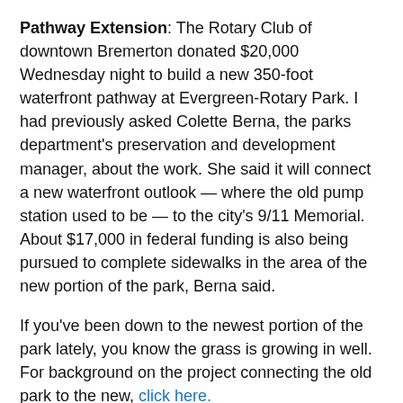Pathway Extension: The Rotary Club of downtown Bremerton donated $20,000 Wednesday night to build a new 350-foot waterfront pathway at Evergreen-Rotary Park. I had previously asked Colette Berna, the parks department's preservation and development manager, about the work. She said it will connect a new waterfront outlook — where the old pump station used to be — to the city's 9/11 Memorial. About $17,000 in federal funding is also being pursued to complete sidewalks in the area of the new portion of the park, Berna said.
If you've been down to the newest portion of the park lately, you know the grass is growing in well. For background on the project connecting the old park to the new, click here.
Crime stat suspicions: During Police Chief Steve